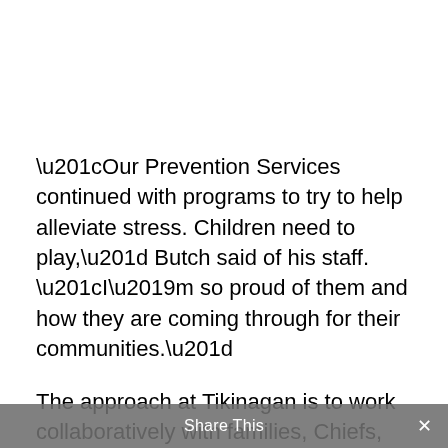“Our Prevention Services continued with programs to try to help alleviate stress. Children need to play,” Butch said of his staff. “I’m so proud of them and how they are coming through for their communities.”
The approach at Tikinagan is to work collaboratively with families, Chiefs, and Councils to develop plans that support families. It is based on the principle of Masnow Obiki
Share This